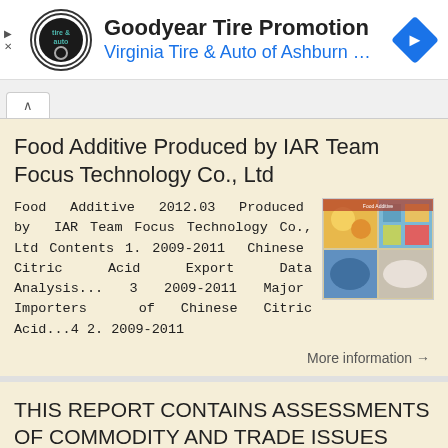[Figure (screenshot): Goodyear Tire Promotion ad banner with Virginia Tire & Auto of Ashburn logo and navigation arrow icon]
Food Additive Produced by IAR Team Focus Technology Co., Ltd
Food Additive 2012.03 Produced by IAR Team Focus Technology Co., Ltd Contents 1. 2009-2011 Chinese Citric Acid Export Data Analysis... 3 2009-2011 Major Importers of Chinese Citric Acid...4 2. 2009-2011
More information →
THIS REPORT CONTAINS ASSESSMENTS OF COMMODITY AND TRADE ISSUES MADE BY USDA STAFF AND NOT NECESSARILY